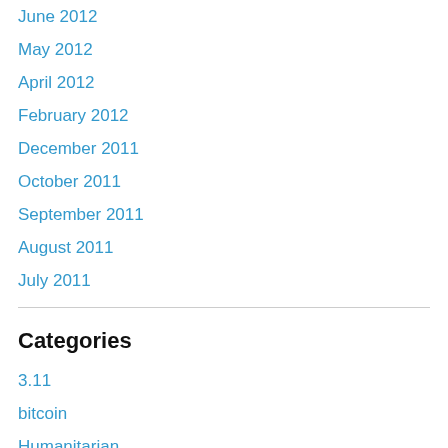June 2012
May 2012
April 2012
February 2012
December 2011
October 2011
September 2011
August 2011
July 2011
Categories
3.11
bitcoin
Humanitarian
Japanese Popular Culture
Kyoko Miura
Nathalie
Politics